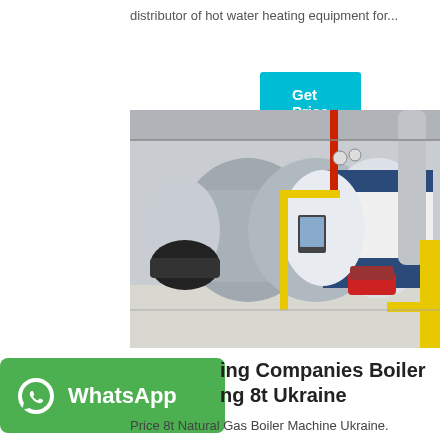distributor of hot water heating equipment for...
Get Price
[Figure (photo): Industrial boiler room with two large horizontal gas boilers, yellow and red piping, pressure gauges, and a control panel in a factory setting.]
[Figure (logo): WhatsApp logo green button with phone icon and WhatsApp text]
ing Companies Boiler ng 8t Ukraine
Price 8t Natural Gas Boiler Machine Ukraine.